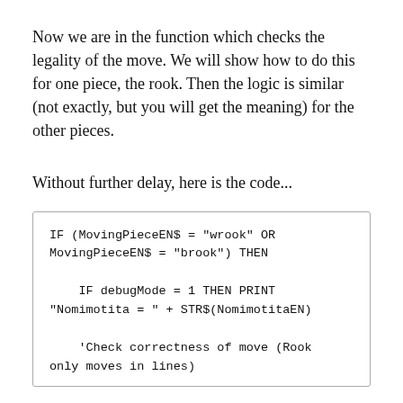Now we are in the function which checks the legality of the move. We will show how to do this for one piece, the rook. Then the logic is similar (not exactly, but you will get the meaning) for the other pieces.
Without further delay, here is the code...
IF (MovingPieceEN$ = "wrook" OR MovingPieceEN$ = "brook") THEN

    IF debugMode = 1 THEN PRINT "Nomimotita = " + STR$(NomimotitaEN)

    'Check correctness of move (Rook only moves in lines)